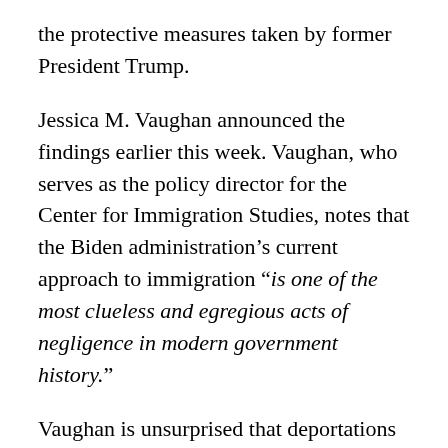the protective measures taken by former President Trump.
Jessica M. Vaughan announced the findings earlier this week. Vaughan, who serves as the policy director for the Center for Immigration Studies, notes that the Biden administration’s current approach to immigration “is one of the most clueless and egregious acts of negligence in modern government history.”
Vaughan is unsurprised that deportations have decreased as a result, though the extent of the decrease is startling. One of Biden’s first actions in